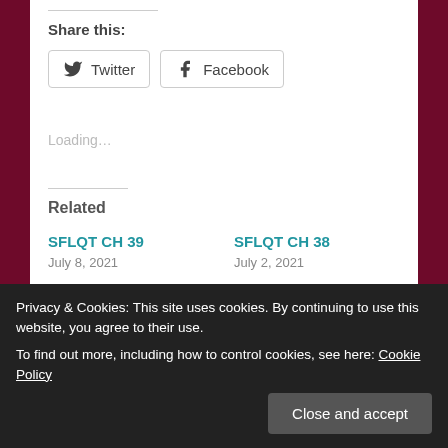Share this:
Twitter
Facebook
Loading...
Related
SFLQT CH 39
July 8, 2021
SFLQT CH 38
July 2, 2021
Privacy & Cookies: This site uses cookies. By continuing to use this website, you agree to their use.
To find out more, including how to control cookies, see here: Cookie Policy
Close and accept